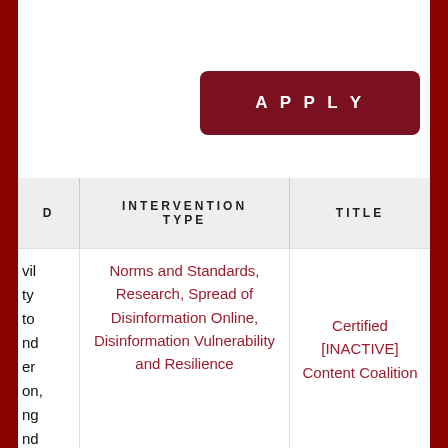[Figure (screenshot): Partial top bar of a web interface with white background]
APPLY
| D | INTERVENTION TYPE | TITLE |
| --- | --- | --- |
| vil ty to nd er on, ng nd | Norms and Standards, Research, Spread of Disinformation Online, Disinformation Vulnerability and Resilience | Certified [INACTIVE] Content Coalition |